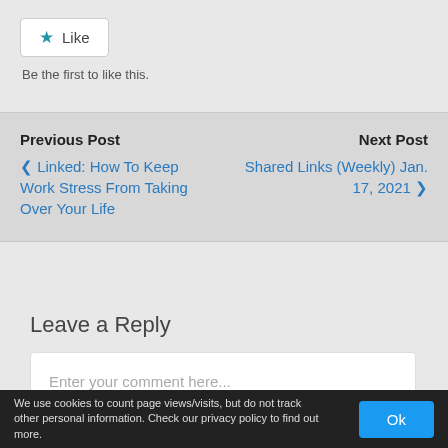[Figure (other): Like button with star icon]
Be the first to like this.
Previous Post
❮ Linked: How To Keep Work Stress From Taking Over Your Life
Next Post
Shared Links (Weekly) Jan. 17, 2021 ❯
Leave a Reply
Enter your comment here...
We use cookies to count page views/visits, but do not track other personal information. Check our privacy policy to find out more.